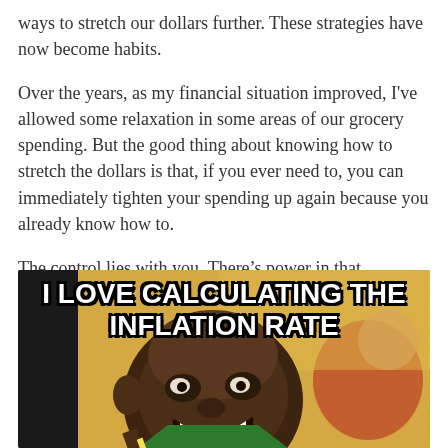ways to stretch our dollars further. These strategies have now become habits.
Over the years, as my financial situation improved, I've allowed some relaxation in some areas of our grocery spending. But the good thing about knowing how to stretch the dollars is that, if you ever need to, you can immediately tighten your spending up again because you already know how to.
The control lies with you. There’s power in that.
[Figure (photo): Meme image of a smiling child at a desk with overlaid bold white text reading 'I LOVE CALCULATING THE INFLATION RATE']